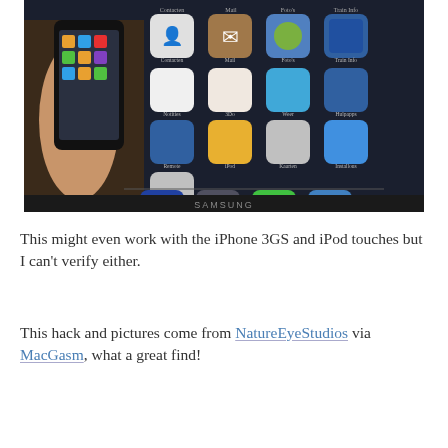[Figure (photo): A photo showing a hand holding an iPhone displaying app icons, positioned in front of a Samsung TV screen that mirrors the iPhone's home screen with app icons including Contacten, Mail, Foto's, Train Info, Notities, 3Do, Weer, Hulpapps, Remote, iPod, Kaarten, Installous, Safai, Berichter, Camera and others. The TV brand 'SAMSUNG' is visible at the bottom.]
This might even work with the iPhone 3GS and iPod touches but I can't verify either.
This hack and pictures come from NatureEyeStudios via MacGasm, what a great find!